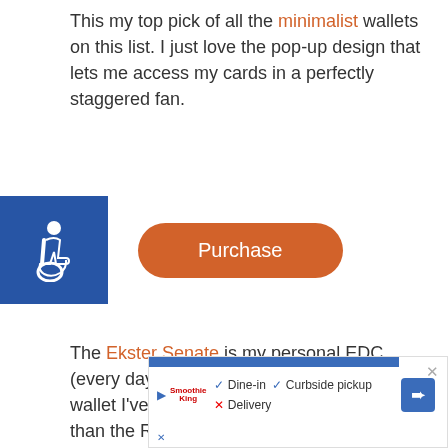This my top pick of all the minimalist wallets on this list. I just love the pop-up design that lets me access my cards in a perfectly staggered fan.
[Figure (infographic): Accessibility icon (wheelchair symbol) in blue square on left, orange Purchase button on right]
The Ekster Senate is my personal EDC (every day carry) and the best minimalist wallet I've ever owned. Yes, it's a little larger than the Ridge and Ogon wallets. But it still sits squarely in the minimalist size category with room to spare. It has 3 things going for it that I just love.
[Figure (screenshot): Advertisement banner: Smoothie King ad with Dine-in, Curbside pickup, and Delivery options, with a navigation arrow icon]